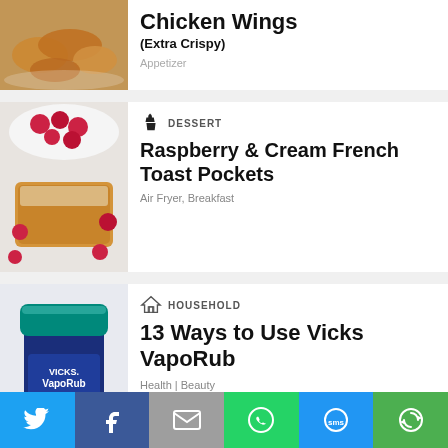[Figure (photo): Partial view of chicken wings on a plate]
Chicken Wings (Extra Crispy)
Appetizer
[Figure (photo): Raspberry & Cream French Toast Pockets with raspberries on a plate]
DESSERT
Raspberry & Cream French Toast Pockets
Air Fryer, Breakfast
[Figure (photo): Vicks VapoRub jar with teal lid]
HOUSEHOLD
13 Ways to Use Vicks VapoRub
Health | Beauty
[Figure (infographic): Social share bar with Twitter, Facebook, Email, WhatsApp, SMS, and More buttons]